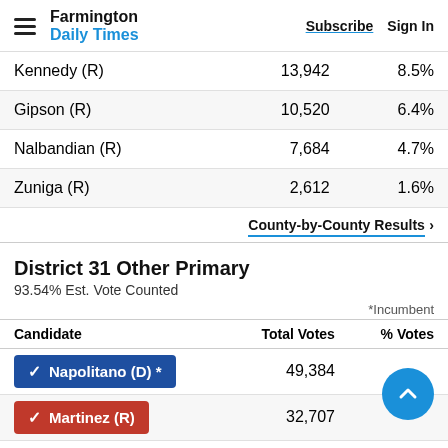Farmington Daily Times — Subscribe  Sign In
| Candidate | Total Votes | % Votes |
| --- | --- | --- |
| Kennedy (R) | 13,942 | 8.5% |
| Gipson (R) | 10,520 | 6.4% |
| Nalbandian (R) | 7,684 | 4.7% |
| Zuniga (R) | 2,612 | 1.6% |
County-by-County Results ›
District 31 Other Primary
93.54% Est. Vote Counted
*Incumbent
| Candidate | Total Votes | % Votes |
| --- | --- | --- |
| ✓ Napolitano (D) * | 49,384 | _% |
| ✓ Martinez (R) | 32,707 | _.7% |
| D_____ (R) | 6,042 | 3.9% |